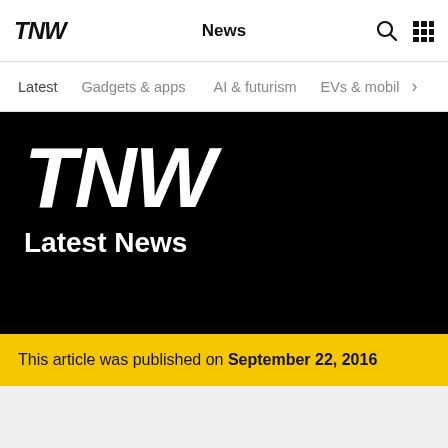TNW  News
Latest  Gadgets & apps  AI & futurism  EVs & mobil >
[Figure (logo): TNW logo large on black background with text 'Latest News']
This article was published on September 22, 2016